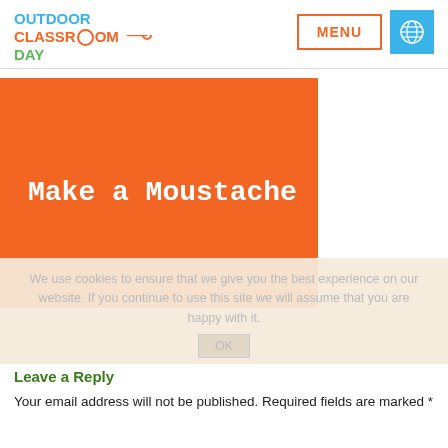[Figure (logo): Outdoor Classroom Day logo with magnifying glass icon]
[Figure (other): MENU button with orange border and globe icon on blue background]
[Figure (illustration): Orange banner image with white text 'Make a Moustache' in monospace font]
We use cookies to ensure that we give you the best experience on our website. If you continue to use this site we will assume that you are happy with it.
Leave a Reply
Your email address will not be published. Required fields are marked *